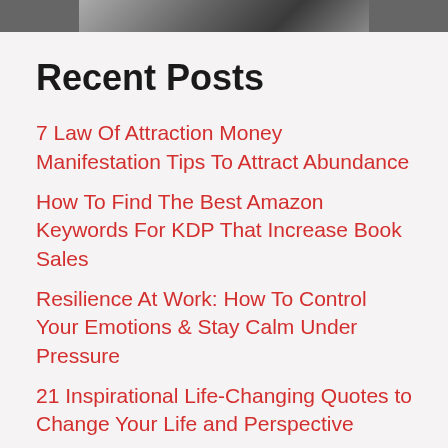[Figure (photo): Partial image strip at top of page, showing a photograph partially cropped]
Recent Posts
7 Law Of Attraction Money Manifestation Tips To Attract Abundance
How To Find The Best Amazon Keywords For KDP That Increase Book Sales
Resilience At Work: How To Control Your Emotions & Stay Calm Under Pressure
21 Inspirational Life-Changing Quotes to Change Your Life and Perspective
Best Richard Branson Quotes and Business Lessons for